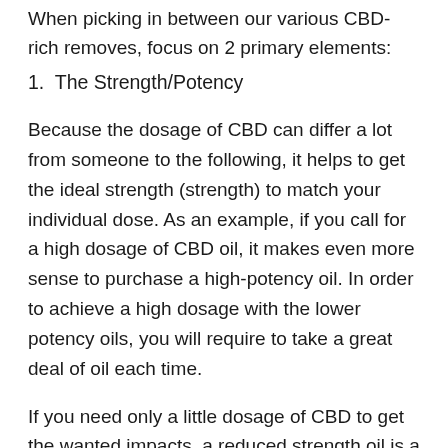When picking in between our various CBD-rich removes, focus on 2 primary elements:
1.  The Strength/Potency
Because the dosage of CBD can differ a lot from someone to the following, it helps to get the ideal strength (strength) to match your individual dose. As an example, if you call for a high dosage of CBD oil, it makes even more sense to purchase a high-potency oil. In order to achieve a high dosage with the lower potency oils, you will require to take a great deal of oil each time.
If you need only a little dosage of CBD to get the wanted impacts, a reduced strength oil is a better choice due to the fact that it's tougher to overdo on your CBD dosage with